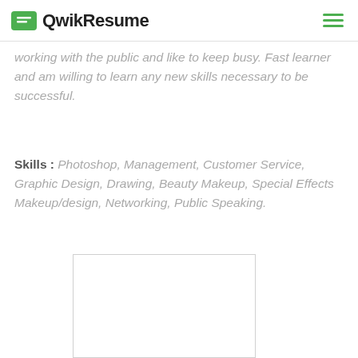QwikResume
working with the public and like to keep busy. Fast learner and am willing to learn any new skills necessary to be successful.
Skills : Photoshop, Management, Customer Service, Graphic Design, Drawing, Beauty Makeup, Special Effects Makeup/design, Networking, Public Speaking.
[Figure (other): Empty white rectangular placeholder box with light gray border]